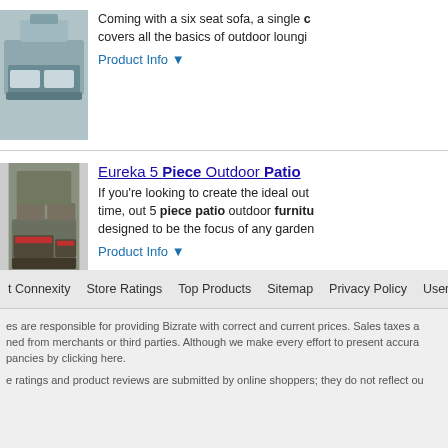[Figure (photo): Outdoor patio furniture set product photo - sofa and chairs]
Coming with a six seat sofa, a single c... covers all the basics of outdoor loungi...
Product Info ▼
[Figure (photo): Eureka 5 Piece Outdoor Patio furniture set with red cushions]
Eureka 5 Piece Outdoor Patio
If you're looking to create the ideal out... time, out 5 piece patio outdoor furnitu... designed to be the focus of any garden
Product Info ▼
Ads related to andover mills lovejoy 2 pieces furniture p... w x 28 d in wayfair
t Connexity   Store Ratings   Top Products   Sitemap   Privacy Policy   User Agreement
es are responsible for providing Bizrate with correct and current prices. Sales taxes a... ned from merchants or third parties. Although we make every effort to present accura... pancies by clicking here.

e ratings and product reviews are submitted by online shoppers; they do not reflect ou...